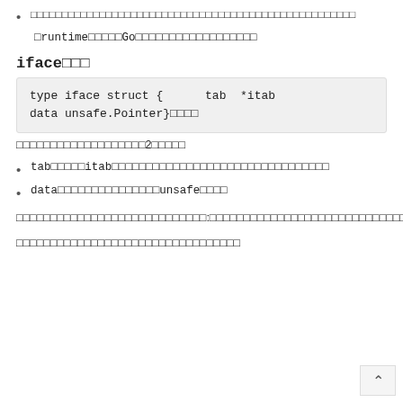□□□□□□□□□□□□□□□□□□□□□□□□□□□□□□□□□□□□□□□□□□□□□□□□□□□□
□runtime□□□□□Go□□□□□□□□□□□□□□□□□□
iface□□□
[Figure (screenshot): Code block showing: type iface struct {      tab  *itab
data unsafe.Pointer}□□□□]
□□□□□□□□□□□□□□□□□□□2□□□□□
tab□□□□□itab□□□□□□□□□□□□□□□□□□□□□□□□□□□□□□□□
data□□□□□□□□□□□□□□□unsafe□□□□
□□□□□□□□□□□□□□□□□□□□□□□□□□□□:□□□□□□□□□□□□□□□□□□□□□□□□□□□□□□□□
□□□□□□□□□□□□□□□□□□□□□□□□□□□□□□□□□